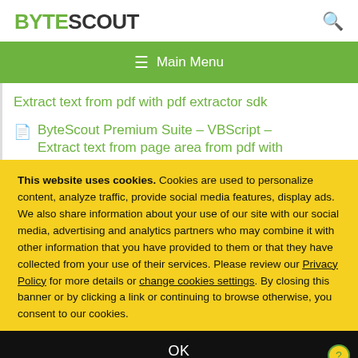BYTESCOUT
≡  Main Menu
Extract text from pdf with pdf extractor sdk
ByteScout Premium Suite – VBScript – Extract text from page area from pdf with
This website uses cookies. Cookies are used to personalize content, analyze traffic, provide social media features, display ads. We also share information about your use of our site with our social media, advertising and analytics partners who may combine it with other information that you have provided to them or that they have collected from your use of their services. Please review our Privacy Policy for more details or change cookies settings. By closing this banner or by clicking a link or continuing to browse otherwise, you consent to our cookies.
OK